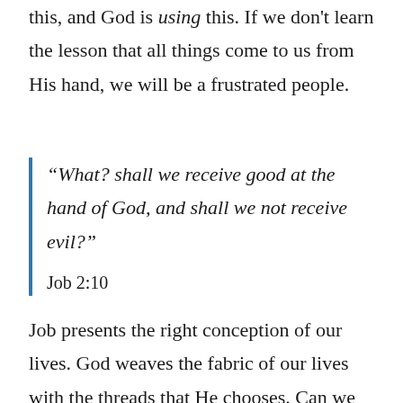am saying this. God allows this, and God is using this. If we don't learn the lesson that all things come to us from His hand, we will be a frustrated people.
“What? shall we receive good at the hand of God, and shall we not receive evil?” Job 2:10
Job presents the right conception of our lives. God weaves the fabric of our lives with the threads that He chooses. Can we accept that